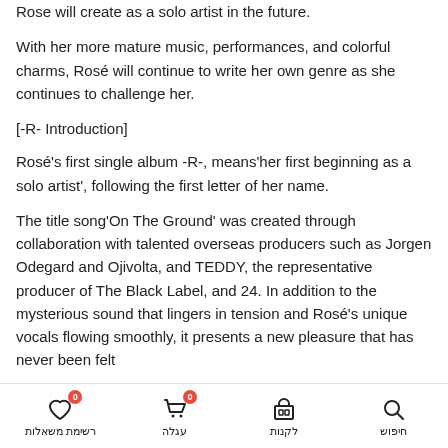Rose will create as a solo artist in the future.
With her more mature music, performances, and colorful charms, Rosé will continue to write her own genre as she continues to challenge her.
[-R- Introduction]
Rosé's first single album -R-, means'her first beginning as a solo artist', following the first letter of her name.
The title song'On The Ground' was created through collaboration with talented overseas producers such as Jorgen Odegard and Ojivolta, and TEDDY, the representative producer of The Black Label, and 24. In addition to the mysterious sound that lingers in tension and Rosé's unique vocals flowing smoothly, it presents a new pleasure that has never been felt
רשימת משאלות 0 | עגלה 0 | לקנות | חיפוש